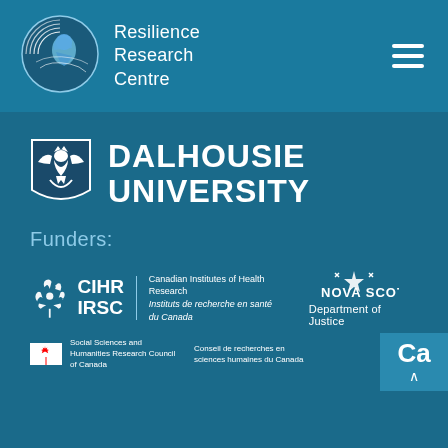[Figure (logo): Resilience Research Centre logo — circular blue emblem with face profile and concentric arcs]
Resilience Research Centre
[Figure (logo): Dalhousie University logo — eagle shield crest with DALHOUSIE UNIVERSITY text]
Funders:
[Figure (logo): CIHR IRSC logo — Canadian Institutes of Health Research / Instituts de recherche en santé du Canada]
[Figure (logo): Nova Scotia Department of Justice logo]
[Figure (logo): Social Sciences and Humanities Research Council of Canada / Conseil de recherches en sciences humaines du Canada — Canadian flag icon with Ca text]